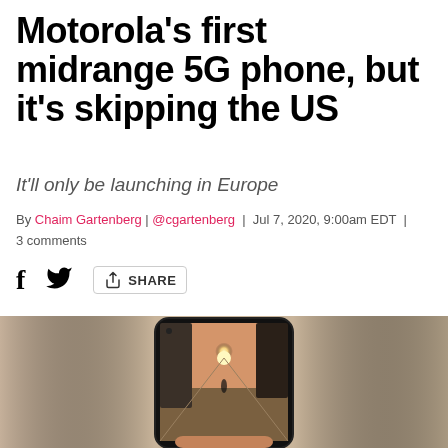Motorola's first midrange 5G phone, but it's skipping the US
It'll only be launching in Europe
By Chaim Gartenberg | @cgartenberg | Jul 7, 2020, 9:00am EDT | 3 comments
[Figure (other): Social share buttons: Facebook (f), Twitter bird icon, and a share icon with SHARE label]
[Figure (photo): A hand holding a smartphone displaying a street scene with a person walking toward a sunset between tall buildings, photographed from behind at golden hour.]